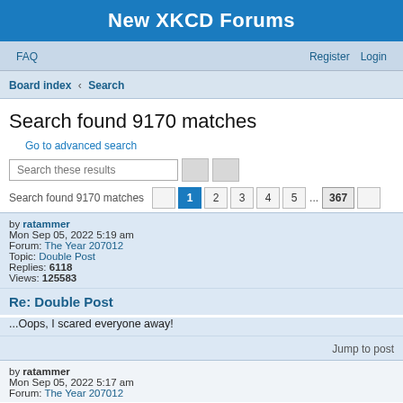New XKCD Forums
FAQ   Register   Login
Board index › Search
Search found 9170 matches
Go to advanced search
Search these results
Search found 9170 matches  1  2  3  4  5  ...  367
by ratammer
Mon Sep 05, 2022 5:19 am
Forum: The Year 207012
Topic: Double Post
Replies: 6118
Views: 125583
Re: Double Post
...Oops, I scared everyone away!
Jump to post
by ratammer
Mon Sep 05, 2022 5:17 am
Forum: The Year 207012